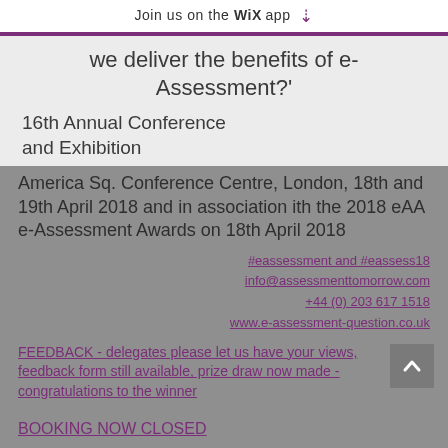Join us on the WiX app ↓
we deliver the benefits of e-Assessment?'
16th Annual Conference and Exhibition
America Sq. Conference Centre, London, 18th and 19th April 2018 and in association ith the 2018 eAA e-Assessment Awards on 18th April 2018
#eassessment and #eassess18
info@assessmenttomorrow.com
+44 (0) 203 617 1518
www.e-assessment-question.co.uk
FEEDBACK - delegates please let us have your views, feedback form still available, prize draw now made - congratulations to the winner
BOOKING NOW CLOSED